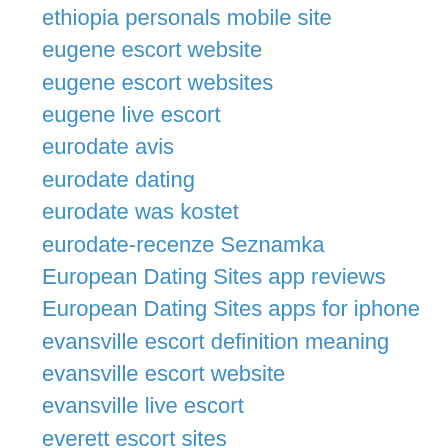ethiopia personals mobile site
eugene escort website
eugene escort websites
eugene live escort
eurodate avis
eurodate dating
eurodate was kostet
eurodate-recenze Seznamka
European Dating Sites app reviews
European Dating Sites apps for iphone
evansville escort definition meaning
evansville escort website
evansville live escort
everett escort sites
exclusive-dating reviews